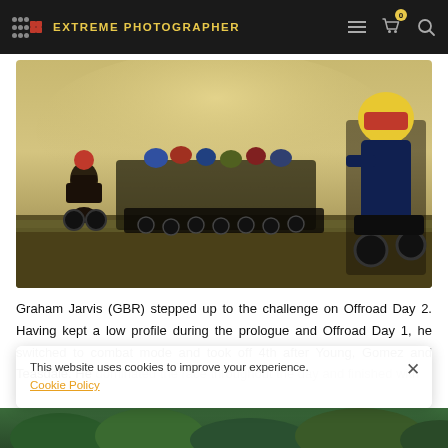EXTREME PHOTOGRAPHER
[Figure (photo): Motocross race start with many riders on dirt bikes kicking up dust, one rider in yellow helmet visible at top right]
Graham Jarvis (GBR) stepped up to the challenge on Offroad Day 2. Having kept a low profile during the prologue and Offroad Day 1, he switched to combat mode and took off 4th after Young, Gomez and Teasdale. He dominated the race throughout the day and finished with more than 15 minutes lead over the runner-ups.
This website uses cookies to improve your experience. Cookie Policy
[Figure (photo): Partial view of green treetops at bottom of page]